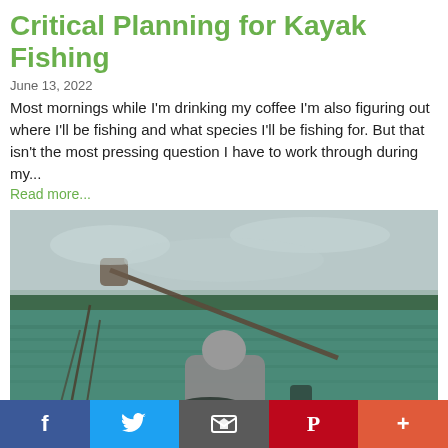Critical Planning for Kayak Fishing
June 13, 2022
Most mornings while I'm drinking my coffee I'm also figuring out where I'll be fishing and what species I'll be fishing for. But that isn't the most pressing question I have to work through during my...
Read more...
[Figure (photo): Person paddling a kayak on open water, viewed from behind, with fishing rods visible, overcast sky and tree line in the background.]
f  twitter  email  P  +